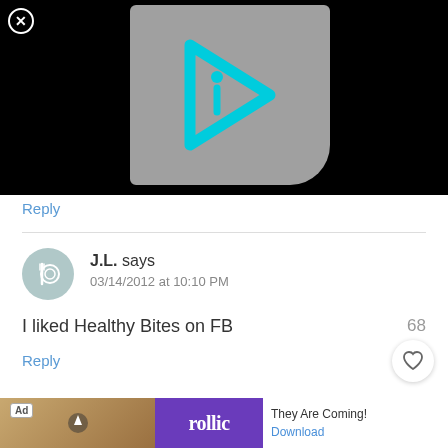[Figure (screenshot): Black video player area with a gray thumbnail showing a cyan play-button logo (triangle with 'i' inside). A close (X) button in a white circle is in the top-left corner.]
Reply
J.L. says
03/14/2012 at 10:10 PM
I liked Healthy Bites on FB
Reply
[Figure (other): Ad banner: left side shows a game screenshot with a bird on wood, middle is purple Rollic logo box, right side has 'They Are Coming!' text and a Download link.]